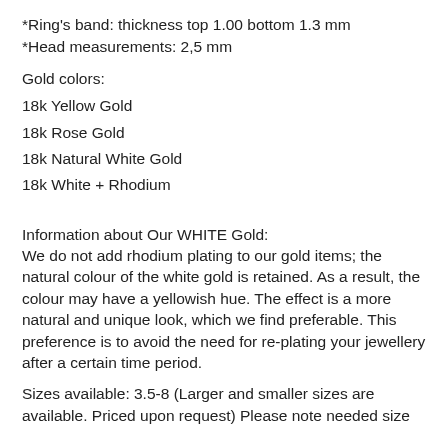*Ring's band: thickness top 1.00 bottom 1.3 mm
*Head measurements: 2,5 mm
Gold colors:
18k Yellow Gold
18k Rose Gold
18k Natural White Gold
18k White + Rhodium
Information about Our WHITE Gold:
We do not add rhodium plating to our gold items; the natural colour of the white gold is retained. As a result, the colour may have a yellowish hue. The effect is a more natural and unique look, which we find preferable. This preference is to avoid the need for re-plating your jewellery after a certain time period.
Sizes available: 3.5-8 (Larger and smaller sizes are available. Priced upon request) Please note needed size